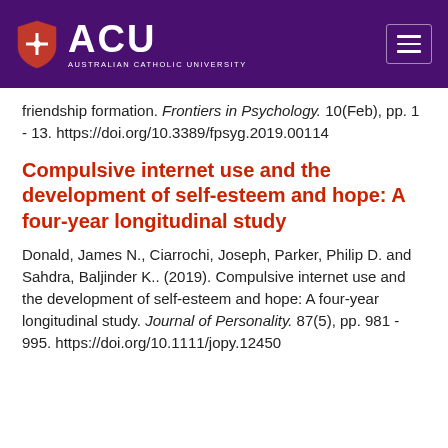[Figure (logo): ACU (Australian Catholic University) logo: white shield with cross on purple background, white ACU text, and 'AUSTRALIAN CATHOLIC UNIVERSITY' subtitle. Hamburger menu icon on right.]
friendship formation. Frontiers in Psychology. 10(Feb), pp. 1 - 13. https://doi.org/10.3389/fpsyg.2019.00114
Compulsive internet use and the development of self-esteem and hope: A four-year longitudinal study
Donald, James N., Ciarrochi, Joseph, Parker, Philip D. and Sahdra, Baljinder K.. (2019). Compulsive internet use and the development of self-esteem and hope: A four-year longitudinal study. Journal of Personality. 87(5), pp. 981 - 995. https://doi.org/10.1111/jopy.12450